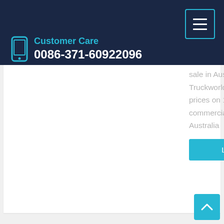Customer Care
0086-371-60922096
sale in Australia at Truckworld.com.au. Find the lowest prices on 1000s of trucks, trailers, commercial vehicles at TruckWorld Australia
Learn More
Efficient sinotruk howo truck head With Splendid Mileage
2018 hot sale heavy duty truck